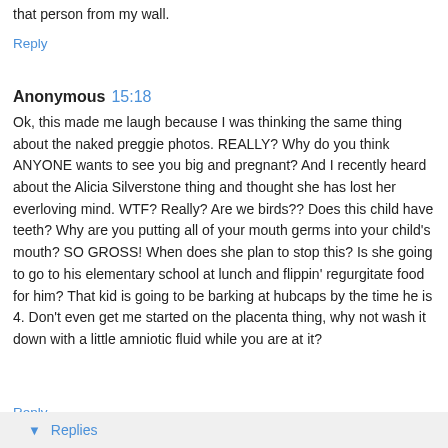that person from my wall.
Reply
Anonymous 15:18
Ok, this made me laugh because I was thinking the same thing about the naked preggie photos. REALLY? Why do you think ANYONE wants to see you big and pregnant? And I recently heard about the Alicia Silverstone thing and thought she has lost her everloving mind. WTF? Really? Are we birds?? Does this child have teeth? Why are you putting all of your mouth germs into your child's mouth? SO GROSS! When does she plan to stop this? Is she going to go to his elementary school at lunch and flippin' regurgitate food for him? That kid is going to be barking at hubcaps by the time he is 4. Don't even get me started on the placenta thing, why not wash it down with a little amniotic fluid while you are at it?
Reply
▾ Replies